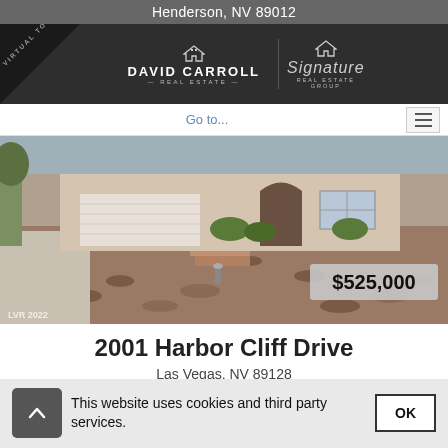Henderson, NV 89012
[Figure (screenshot): David Carroll Real Estate and Signature Real Estate Group logos on dark background]
Go to...
[Figure (photo): Exterior photo of a single-story home with rock landscaping; price overlay shows $525,000; watermark LVR 2022]
2001 Harbor Cliff Drive
Las Vegas, NV 89128
This website uses cookies and third party services.